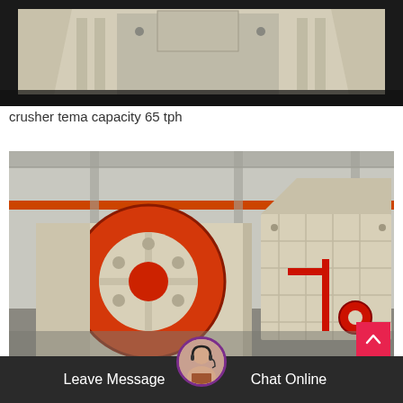[Figure (photo): Close-up of industrial crusher machine, cream/beige colored metal housing with dark background, factory/warehouse setting]
crusher tema capacity 65 tph
[Figure (photo): Industrial crusher machines in a factory warehouse. Front view shows a cream-colored jaw crusher with large red flywheel disc. Background shows another impact crusher with red accents. Industrial overhead crane visible in the background.]
Leave Message
Chat Online